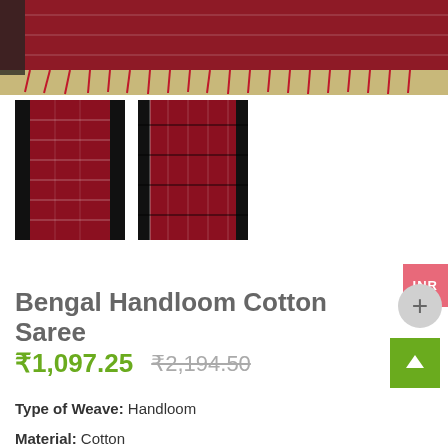[Figure (photo): Top banner showing a red and black handloom cotton saree with red fringe/tassels on a woven mat background]
[Figure (photo): Thumbnail 1: red and black striped handloom saree laid flat on mat]
[Figure (photo): Thumbnail 2: close-up of red and black plaid/check handloom cotton saree fabric]
Bengal Handloom Cotton Saree
₹1,097.25  ₹2,194.50
Type of Weave: Handloom
Material: Cotton